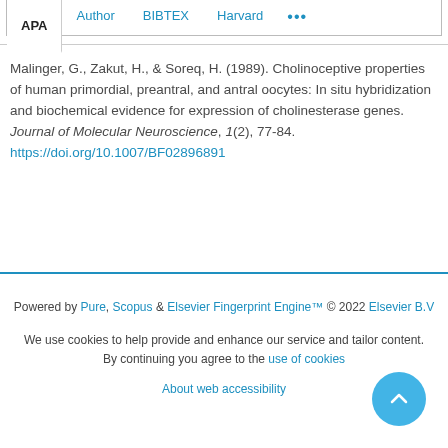APA | Author | BIBTEX | Harvard | ...
Malinger, G., Zakut, H., & Soreq, H. (1989). Cholinoceptive properties of human primordial, preantral, and antral oocytes: In situ hybridization and biochemical evidence for expression of cholinesterase genes. Journal of Molecular Neuroscience, 1(2), 77-84. https://doi.org/10.1007/BF02896891
Powered by Pure, Scopus & Elsevier Fingerprint Engine™ © 2022 Elsevier B.V
We use cookies to help provide and enhance our service and tailor content. By continuing you agree to the use of cookies
About web accessibility